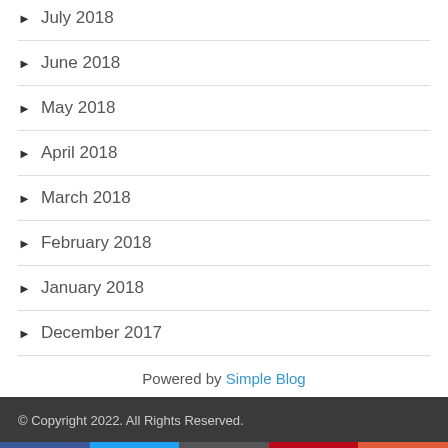July 2018
June 2018
May 2018
April 2018
March 2018
February 2018
January 2018
December 2017
Powered by Simple Blog
© Copyright 2022. All Rights Reserved.